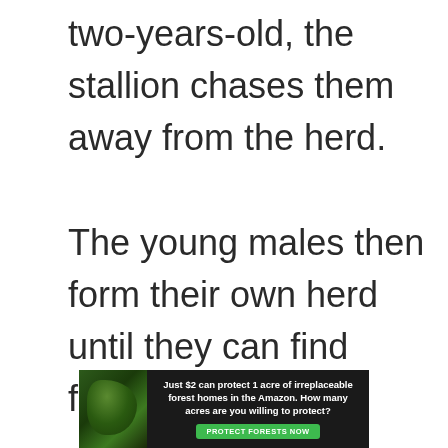two-years-old, the stallion chases them away from the herd.

The young males then form their own herd until they can find females to lead.
[Figure (infographic): Advertisement banner: dark background with forest/nature imagery on the left side showing green foliage. Text reads 'Just $2 can protect 1 acre of irreplaceable forest homes in the Amazon. How many acres are you willing to protect?' with a green 'PROTECT FORESTS NOW' button.]